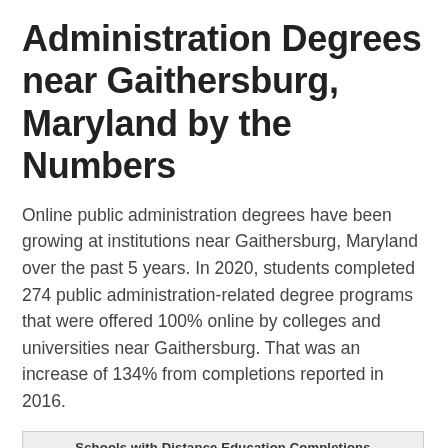Administration Degrees near Gaithersburg, Maryland by the Numbers
Online public administration degrees have been growing at institutions near Gaithersburg, Maryland over the past 5 years. In 2020, students completed 274 public administration-related degree programs that were offered 100% online by colleges and universities near Gaithersburg. That was an increase of 134% from completions reported in 2016.
[Figure (other): Chart area with header 'Schools with Distance Education Completions' and empty chart body below]